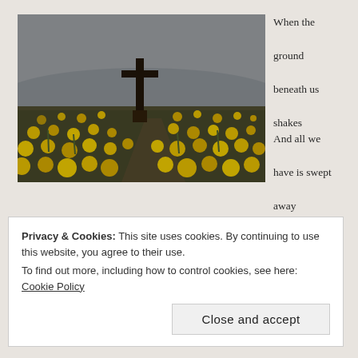[Figure (photo): Photograph of a field of yellow daffodils with a tall wooden cross/crucifix in the middle background, misty hills visible beyond under an overcast grey sky.]
When the ground beneath us shakes
And all we have is swept away
Still, we have the cross
When the oceans roar
And what was once is no more
Still, we have the cross
Privacy & Cookies: This site uses cookies. By continuing to use this website, you agree to their use.
To find out more, including how to control cookies, see here: Cookie Policy
Close and accept